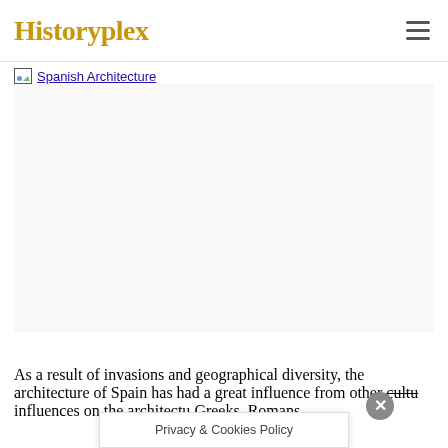Historyplex
[Figure (screenshot): Broken image placeholder with link text 'Spanish Architecture' followed by a large empty image area]
As a result of invasions and geographical diversity, the architecture of Spain has had a great influence from other cultu- influences on the architectu- Greeks, Romans